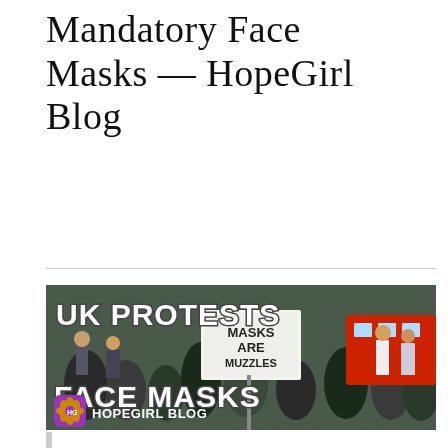Mandatory Face Masks — HopeGirl Blog
[Figure (photo): A UK protest against mandatory face masks. A crowd of protesters, one holding a sign reading 'MASKS ARE MUZZLES'. Bold white text overlay reads 'UK PROTESTS' at top and 'FACE MASKS' at bottom. A purple HopeGirl Blog logo icon is in the bottom left with 'HOPEGIRL BLOG' text beside it.]